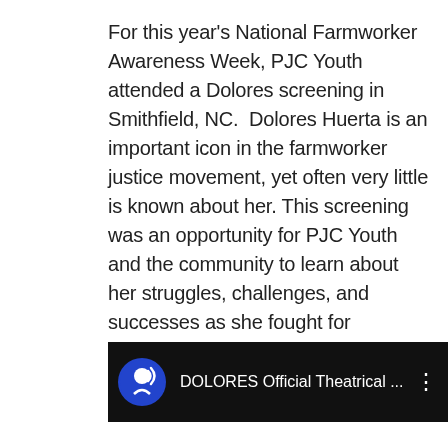For this year's National Farmworker Awareness Week, PJC Youth attended a Dolores screening in Smithfield, NC.  Dolores Huerta is an important icon in the farmworker justice movement, yet often very little is known about her. This screening was an opportunity for PJC Youth and the community to learn about her struggles, challenges, and successes as she fought for farmworker rights.
[Figure (screenshot): YouTube video thumbnail bar showing PBS logo and title 'DOLORES Official Theatrical ...' with a three-dot menu icon on a dark/black background.]